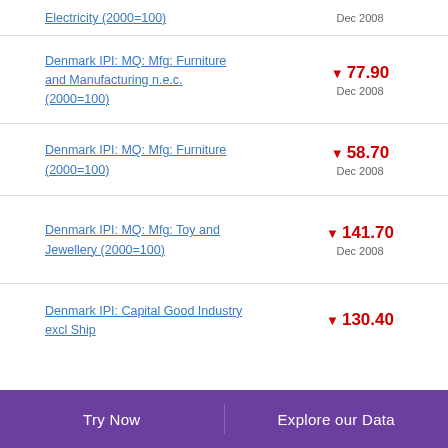Electricity (2000=100)
Denmark IPI: MQ: Mfg: Furniture and Manufacturing n.e.c. (2000=100)
Denmark IPI: MQ: Mfg: Furniture (2000=100)
Denmark IPI: MQ: Mfg: Toy and Jewellery (2000=100)
Denmark IPI: Capital Good Industry excl Ship
Try Now    Explore our Data